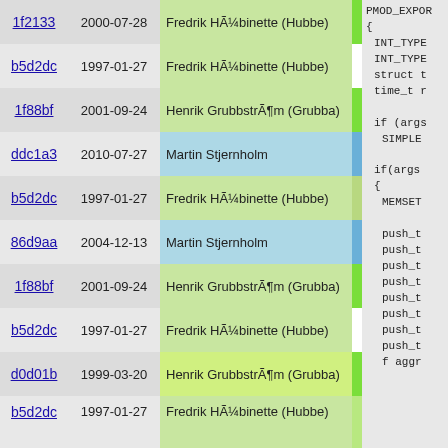| Hash | Date | Author |  | Code |
| --- | --- | --- | --- | --- |
| 1f2133 | 2000-07-28 | Fredrik HÃ¼binette (Hubbe) |  | PMOD_EXPOR |
| b5d2dc | 1997-01-27 | Fredrik HÃ¼binette (Hubbe) |  | { |
| 1f88bf | 2001-09-24 | Henrik GrubbstrÃ¶m (Grubba) |  | INT_TYPE |
| ddc1a3 | 2010-07-27 | Martin Stjernholm |  | INT_TYPE |
| b5d2dc | 1997-01-27 | Fredrik HÃ¼binette (Hubbe) |  | struct t |
| 86d9aa | 2004-12-13 | Martin Stjernholm |  | time_t r |
| 1f88bf | 2001-09-24 | Henrik GrubbstrÃ¶m (Grubba) |  |  |
| b5d2dc | 1997-01-27 | Fredrik HÃ¼binette (Hubbe) |  | if (args |
| d0d01b | 1999-03-20 | Henrik GrubbstrÃ¶m (Grubba) |  | SIMPLE |
| b5d2dc | 1997-01-27 | Fredrik HÃ¼binette (Hubbe) |  | if(args
{
  MEMSET

  push_t
  push_t
  push_t
  push_t
  push_t
  push_t
  push_t
  push_t
  f aggr |